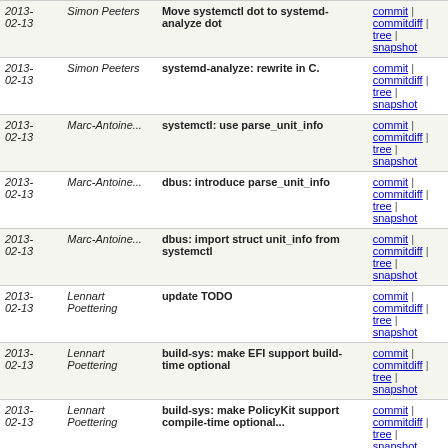| Date | Author | Commit message | Links |
| --- | --- | --- | --- |
| 2013-02-13 | Simon Peeters | Move systemctl dot to systemd-analyze dot | commit | commitdiff | tree | snapshot |
| 2013-02-13 | Simon Peeters | systemd-analyze: rewrite in C. | commit | commitdiff | tree | snapshot |
| 2013-02-13 | Marc-Antoine... | systemctl: use parse_unit_info | commit | commitdiff | tree | snapshot |
| 2013-02-13 | Marc-Antoine... | dbus: introduce parse_unit_info | commit | commitdiff | tree | snapshot |
| 2013-02-13 | Marc-Antoine... | dbus: import struct unit_info from systemctl | commit | commitdiff | tree | snapshot |
| 2013-02-13 | Lennart Poettering | update TODO | commit | commitdiff | tree | snapshot |
| 2013-02-13 | Lennart Poettering | build-sys: make EFI support build-time optional | commit | commitdiff | tree | snapshot |
| 2013-02-13 | Lennart Poettering | build-sys: make PolicyKit support compile-time optional... | commit | commitdiff | tree | snapshot |
| 2013-02-13 | Zbigniew Jędrzejewsk... | build-sys: fix build without -Wl,-gc-sections | commit | commitdiff | tree | snapshot |
| 2013-02-13 | Lennart Poettering | efi: efi_get_boot_options() should already sort the... | commit | commitdiff | tree | snapshot |